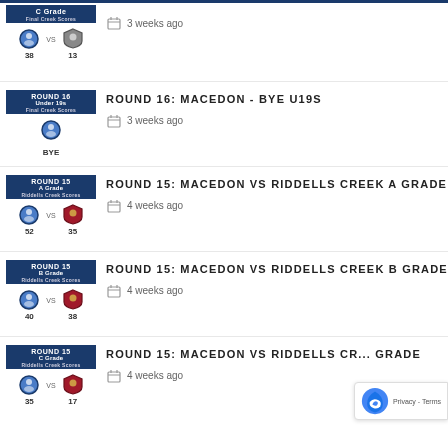C Grade match result: 38 vs 13, 3 weeks ago
ROUND 16: MACEDON - BYE U19S, 3 weeks ago
ROUND 15: MACEDON VS RIDDELLS CREEK A GRADE, 4 weeks ago
ROUND 15: MACEDON VS RIDDELLS CREEK B GRADE, 4 weeks ago
ROUND 15: MACEDON VS RIDDELLS CREEK C GRADE, 4 weeks ago